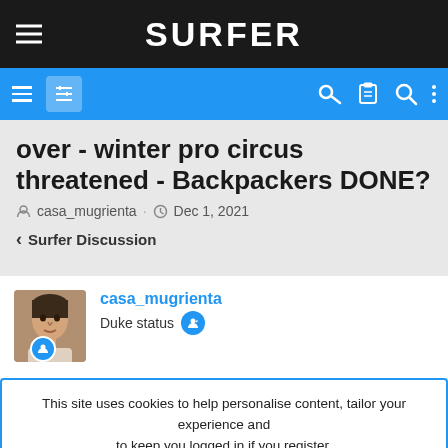SURFER
over - winter pro circus threatened - Backpackers DONE?
casa_mugrienta · Dec 1, 2021
< Surfer Discussion
casa_mugrienta
Duke status
This site uses cookies to help personalise content, tailor your experience and to keep you logged in if you register.
By continuing to use this site, you are consenting to our use of cookies.
ACCEPT    LEARN MORE...